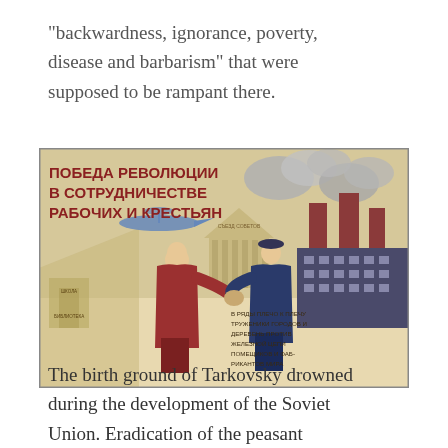"backwardness, ignorance, poverty, disease and barbarism" that were supposed to be rampant there.
[Figure (illustration): Soviet propaganda poster showing two men (a peasant and a worker) shaking hands in front of industrial factories and agricultural imagery. Russian text reads: ПОБЕДА РЕВОЛЮЦИИ В СОТРУДНИЧЕСТВЕ РАБОЧИХ И КРЕСТЬЯН (Victory of the Revolution in the Cooperation of Workers and Peasants). Lower text: В РЯДЫ ПЛЕЧО К ПЛЕЧУ ТРУЖЕНИКИ ГОРОДОВ И ДЕРЕВЕНЬ ПРОТИВ ЖЕЛЕЗНОЙ ЦЕПИ ПОМЕЩИКОВ И ФАБРИКАНТОВ МИРА.]
The birth ground of Tarkovsky drowned during the development of the Soviet Union. Eradication of the peasant